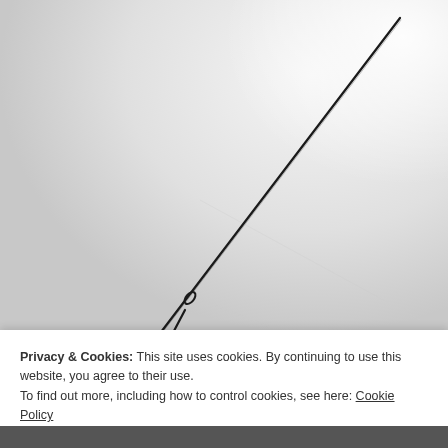[Figure (photo): Close-up photograph of a thin dark wire or needle-like object lying diagonally across a light grey/white surface, extending from lower-left to upper-right. The wire has a small loop or kink near the lower end.]
Privacy & Cookies: This site uses cookies. By continuing to use this website, you agree to their use. To find out more, including how to control cookies, see here: Cookie Policy